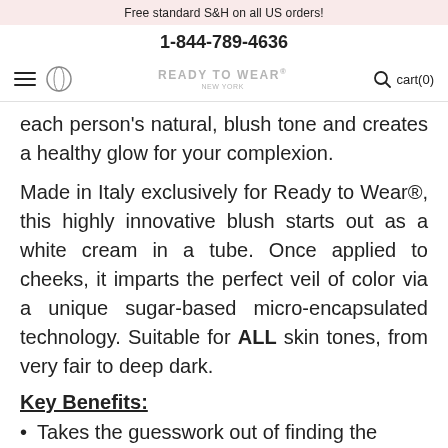Free standard S&H on all US orders!
1-844-789-4636
READY TO WEAR® NEW YORK  [navigation: hamburger, logo circle, search, cart(0)]
each person's natural, blush tone and creates a healthy glow for your complexion.
Made in Italy exclusively for Ready to Wear®, this highly innovative blush starts out as a white cream in a tube. Once applied to cheeks, it imparts the perfect veil of color via a unique sugar-based micro-encapsulated technology. Suitable for ALL skin tones, from very fair to deep dark.
Key Benefits:
Takes the guesswork out of finding the perfect blush color once and for all
Instantly self-adjusts upon application to